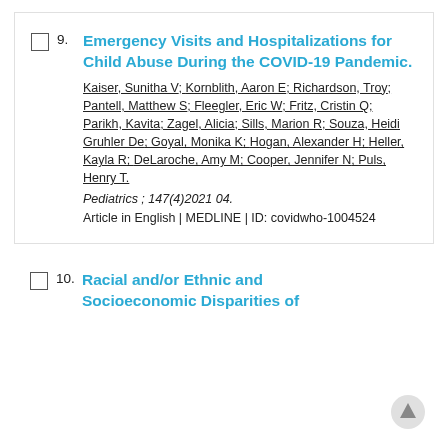9. Emergency Visits and Hospitalizations for Child Abuse During the COVID-19 Pandemic. Kaiser, Sunitha V; Kornblith, Aaron E; Richardson, Troy; Pantell, Matthew S; Fleegler, Eric W; Fritz, Cristin Q; Parikh, Kavita; Zagel, Alicia; Sills, Marion R; Souza, Heidi Gruhler De; Goyal, Monika K; Hogan, Alexander H; Heller, Kayla R; DeLaroche, Amy M; Cooper, Jennifer N; Puls, Henry T. Pediatrics ; 147(4)2021 04. Article in English | MEDLINE | ID: covidwho-1004524
10. Racial and/or Ethnic and Socioeconomic Disparities of